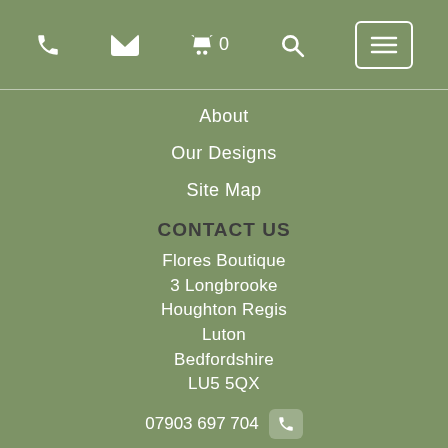[Figure (screenshot): Top navigation bar with phone icon, email icon, basket with 0, search icon, and hamburger menu button on sage green background]
About
Our Designs
Site Map
CONTACT US
Flores Boutique
3 Longbrooke
Houghton Regis
Luton
Bedfordshire
LU5 5QX
07903 697 704
07946 458 231
info@floresboutique.co.uk